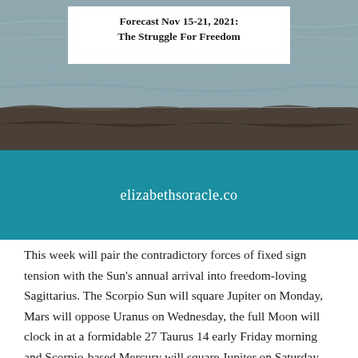[Figure (photo): Ocean/water background image with rocky shoreline, grey and teal tones, with a white semi-transparent text box overlaid at top center, and a teal/dark cyan band in the lower portion.]
Forecast Nov 15-21, 2021:
The Struggle For Freedom
elizabethsoracle.co
This week will pair the contradictory forces of fixed sign tension with the Sun's annual arrival into freedom-loving Sagittarius. The Scorpio Sun will square Jupiter on Monday, Mars will oppose Uranus on Wednesday, the full Moon will clock in at a formidable 27 Taurus 14 early Friday morning and Scorpio-based Mercury will square Jupiter on Saturday. That full Moon includes a lunar eclipse, the first of an incoming series that will last until